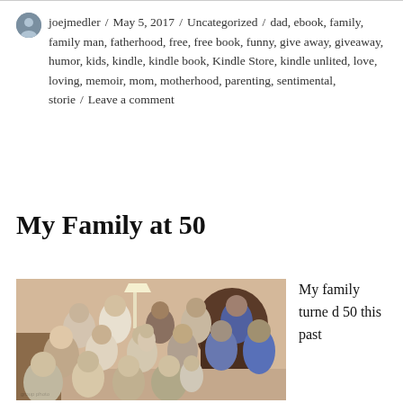joejmedler / May 5, 2017 / Uncategorized / dad, ebook, family, family man, fatherhood, free, free book, funny, give away, giveaway, humor, kids, kindle, kindle book, Kindle Store, kindle unlited, love, loving, memoir, mom, motherhood, parenting, sentimental, storie / Leave a comment
My Family at 50
[Figure (photo): Group family photo showing approximately 15-17 people of various ages gathered together indoors, smiling at the camera]
My family turned 50 this past